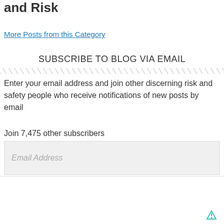and Risk
More Posts from this Category
SUBSCRIBE TO BLOG VIA EMAIL
Enter your email address and join other discerning risk and safety people who receive notifications of new posts by email
Join 7,475 other subscribers
Email Address
1. FORKLIFT OPERATOR TRAINING
2. EMPLOYEE TRAINING CHECKLIST